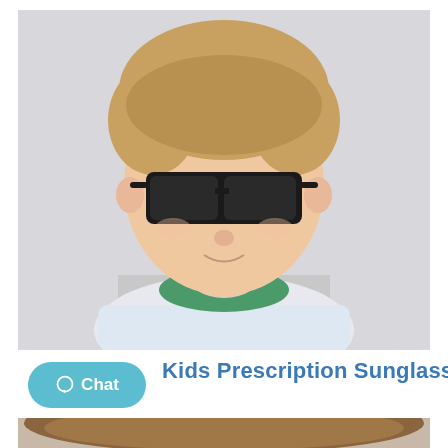[Figure (photo): A young boy wearing black wayfarer-style sunglasses and a green-trimmed striped shirt, photographed against a light grey background.]
Kids Prescription Sunglasses
[Figure (screenshot): Chat button overlay with speech bubble icon and the word Chat, on a teal/cyan rounded pill background.]
[Figure (photo): Partial view of another photo at the bottom, showing a person with brown hair — appears to be another model wearing eyewear.]